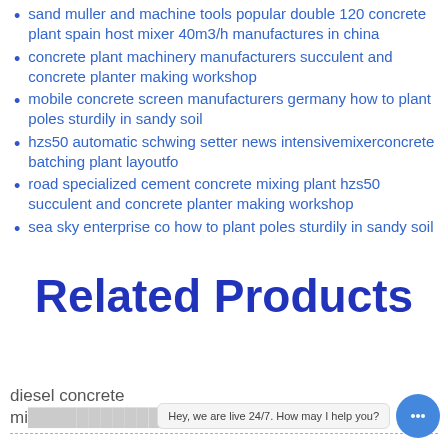sand muller and machine tools popular double 120 concrete plant spain host mixer 40m3/h manufactures in china
concrete plant machinery manufacturers succulent and concrete planter making workshop
mobile concrete screen manufacturers germany how to plant poles sturdily in sandy soil
hzs50 automatic schwing setter news intensivemixerconcrete batching plant layoutfo
road specialized cement concrete mixing plant hzs50 succulent and concrete planter making workshop
sea sky enterprise co how to plant poles sturdily in sandy soil
Related Products
diesel concrete mi...e
Hey, we are live 24/7. How may I help you?